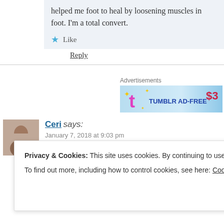helped me foot to heal by loosening muscles in foot. I'm a total convert.
Like
Reply
[Figure (screenshot): Tumblr Ad-Free banner advertisement showing $3 price]
Ceri says: January 7, 2018 at 9:03 pm
Privacy & Cookies: This site uses cookies. By continuing to use this website, you agree to their use. To find out more, including how to control cookies, see here: Cookie Policy